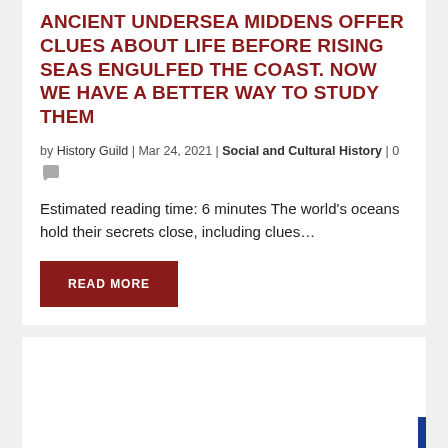ANCIENT UNDERSEA MIDDENS OFFER CLUES ABOUT LIFE BEFORE RISING SEAS ENGULFED THE COAST. NOW WE HAVE A BETTER WAY TO STUDY THEM
by History Guild | Mar 24, 2021 | Social and Cultural History | 0
Estimated reading time: 6 minutes The world's oceans hold their secrets close, including clues…
READ MORE